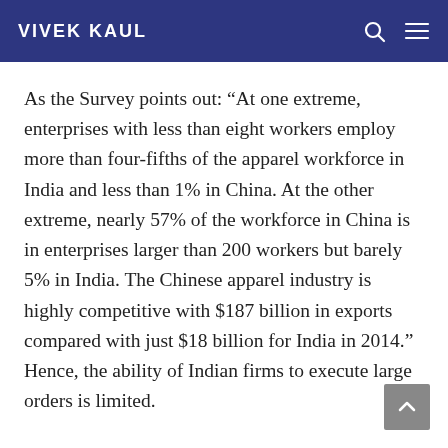VIVEK KAUL
As the Survey points out: “At one extreme, enterprises with less than eight workers employ more than four-fifths of the apparel workforce in India and less than 1% in China. At the other extreme, nearly 57% of the workforce in China is in enterprises larger than 200 workers but barely 5% in India. The Chinese apparel industry is highly competitive with $187 billion in exports compared with just $18 billion for India in 2014.” Hence, the ability of Indian firms to execute large orders is limited.